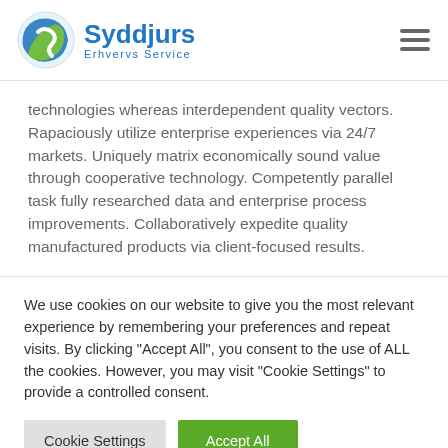Syddjurs Erhvervs Service
technologies whereas interdependent quality vectors. Rapaciously utilize enterprise experiences via 24/7 markets. Uniquely matrix economically sound value through cooperative technology. Competently parallel task fully researched data and enterprise process improvements. Collaboratively expedite quality manufactured products via client-focused results.
We use cookies on our website to give you the most relevant experience by remembering your preferences and repeat visits. By clicking "Accept All", you consent to the use of ALL the cookies. However, you may visit "Cookie Settings" to provide a controlled consent.